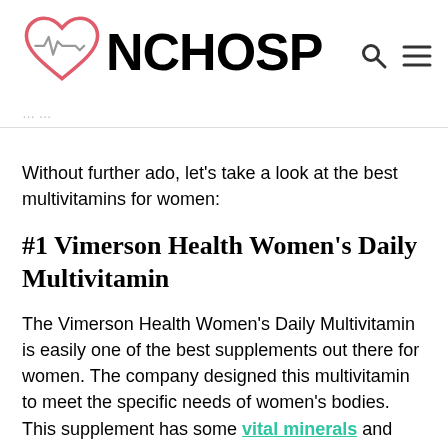NCHOSP — logo with heart/ECG icon, search and menu nav icons
Without further ado, let's take a look at the best multivitamins for women:
#1 Vimerson Health Women's Daily Multivitamin
The Vimerson Health Women's Daily Multivitamin is easily one of the best supplements out there for women. The company designed this multivitamin to meet the specific needs of women's bodies. This supplement has some vital minerals and vitamins that enhance energy, improves the immune system, and helps in weight management. Vimerson